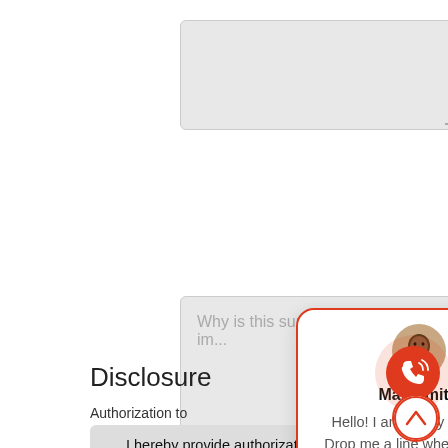[Figure (screenshot): Top textarea input field (gray background), empty]
Why is this surgical procedure im...
Disclosure
Authorization to
I hereby provide authorization to verify all information contained in this application for the evaluation of this application and I further certify the information provided is true and correct to the best of my knowledge.
[Figure (screenshot): Chat popup with avatar of Max Smith and message: Hello! I am happy to assist. Drop me a line whenever you have questions.]
[Figure (other): Red call button with phone icon and ripple effect]
[Figure (other): White up-arrow button with red border]